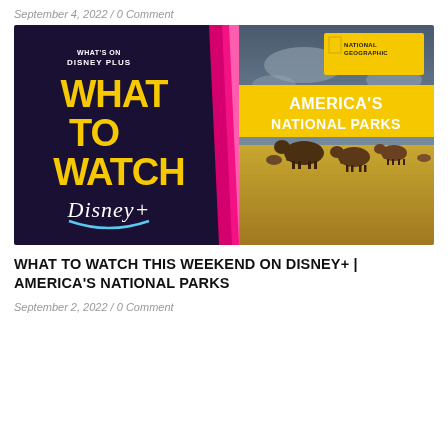September 4, 2022 / 0 Comment
[Figure (photo): Promotional thumbnail for Disney+ 'What To Watch' featuring America's National Parks. Left half: dark purple background with 'WHAT'S ON DISNEY PLUS' in small text, 'WHAT TO WATCH' in large yellow bold text, Disney+ logo in white. A pink/magenta diagonal stripe divides the two halves. Right half: National Geographic branding with 'AMERICA'S NATIONAL PARKS' in white bold text on yellow banner, and a nature photograph of bison grazing on a golden prairie under a dramatic cloudy sky.]
WHAT TO WATCH THIS WEEKEND ON DISNEY+ | AMERICA'S NATIONAL PARKS
September 2, 2022 / 0 Comment